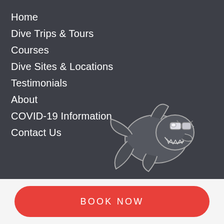Home
Dive Trips & Tours
Courses
Dive Sites & Locations
Testimonials
About
COVID-19 Information
Contact Us
[Figure (illustration): Cartoon shark mascot wearing sunglasses, smiling, rendered in grey/white line art on dark background]
BOOK NOW